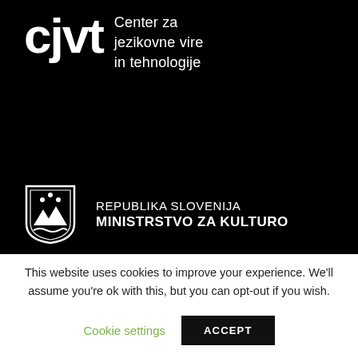[Figure (logo): CJVT logo with bold text 'cjvt' and tagline 'Center za jezikovne vire in tehnologije' on black background]
[Figure (logo): Republika Slovenija Ministrstvo za Kulturo logo with Slovenian coat of arms shield on black background]
This website uses cookies to improve your experience. We'll assume you're ok with this, but you can opt-out if you wish.
Cookie settings
ACCEPT